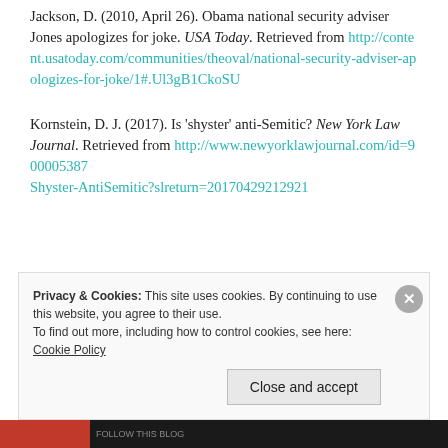Jackson, D. (2010, April 26). Obama national security adviser Jones apologizes for joke. USA Today. Retrieved from http://content.usatoday.com/communities/theoval/national-security-adviser-apologizes-for-joke/1#.Ul3gB1CkoSU
Kornstein, D. J. (2017). Is 'shyster' anti-Semitic? New York Law Journal. Retrieved from http://www.newyorklawjournal.com/id=900005387 Shyster-AntiSemitic?slreturn=20170429212921
Privacy & Cookies: This site uses cookies. By continuing to use this website, you agree to their use. To find out more, including how to control cookies, see here: Cookie Policy